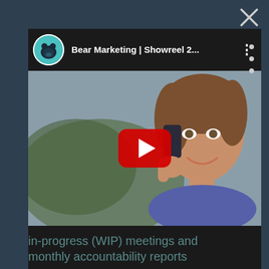[Figure (screenshot): YouTube video embed showing 'Bear Marketing | Showreel 2...' with a woman talking on a phone as the thumbnail, red YouTube play button overlay, channel logo (teal bear icon), and three-dot menu icon in the video header. The page has a dark teal/slate background with a close (X) button and menu icon in the top right corner.]
in-progress (WIP) meetings and monthly accountability reports